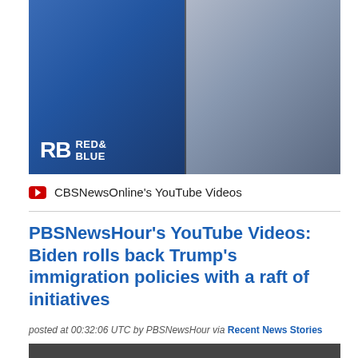[Figure (photo): CBS News 'Red & Blue' show thumbnail featuring two men — one on the left with a blue background, one on the right — with the RB Red & Blue logo overlay at the bottom left]
CBSNewsOnline's YouTube Videos
PBSNewsHour's YouTube Videos: Biden rolls back Trump's immigration policies with a raft of initiatives
posted at 00:32:06 UTC by PBSNewsHour via Recent News Stories
[Figure (photo): Partial bottom image thumbnail (cropped)]